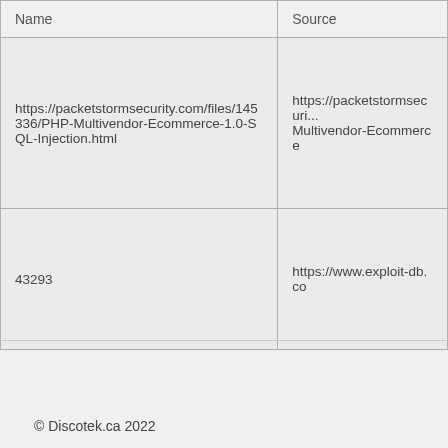| Name | Source |
| --- | --- |
| https://packetstormsecurity.com/files/145336/PHP-Multivendor-Ecommerce-1.0-SQL-Injection.html | https://packetstormsecurity.com/files/145336/PHP-Multivendor-Ecommerce-1.0-SQL-Injection.html (truncated) |
| 43293 | https://www.exploit-db.co (truncated) |
© Discotek.ca 2022